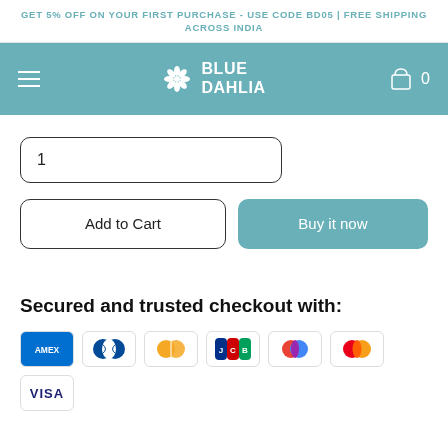GET 5% OFF ON YOUR FIRST PURCHASE - USE CODE BD05 | FREE SHIPPING ACROSS INDIA
[Figure (logo): Blue Dahlia logo with flower icon and text BLUE DAHLIA on teal navigation bar with hamburger menu and cart icon showing 0]
1
Add to Cart
Buy it now
Secured and trusted checkout with:
[Figure (infographic): Payment icons: American Express (AMEX), Diners Club, Maestro, JCB, Google Pay / PayPal, Mastercard, VISA]